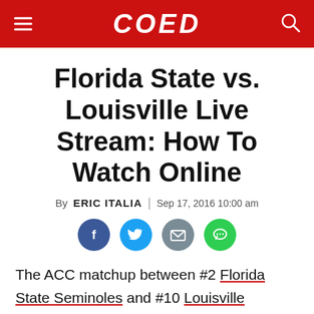COED
Florida State vs. Louisville Live Stream: How To Watch Online
By ERIC ITALIA | Sep 17, 2016 10:00 am
[Figure (infographic): Social sharing icons: Facebook (blue circle), Twitter (teal circle), Email (grey circle), Message/SMS (green circle)]
The ACC matchup between #2 Florida State Seminoles and #10 Louisville Cardinals is one of, if not the, best games of the weekend. After defeating a tough Ole Miss in their opener